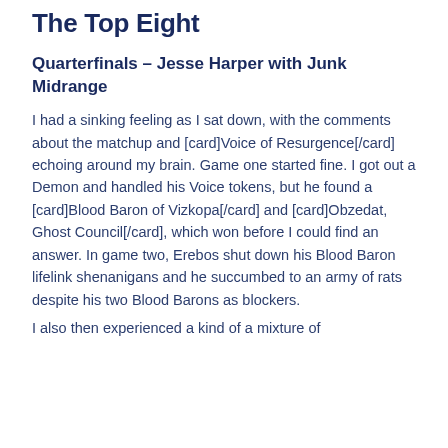The Top Eight
Quarterfinals – Jesse Harper with Junk Midrange
I had a sinking feeling as I sat down, with the comments about the matchup and [card]Voice of Resurgence[/card] echoing around my brain. Game one started fine. I got out a Demon and handled his Voice tokens, but he found a [card]Blood Baron of Vizkopa[/card] and [card]Obzedat, Ghost Council[/card], which won before I could find an answer. In game two, Erebos shut down his Blood Baron lifelink shenanigans and he succumbed to an army of rats despite his two Blood Barons as blockers.
I also then experienced a kind of a mixture of